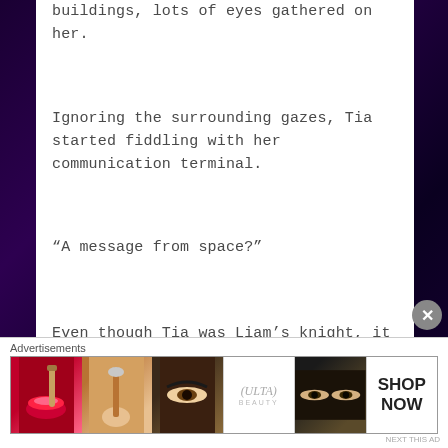buildings, lots of eyes gathered on her.
Ignoring the surrounding gazes, Tia started fiddling with her communication terminal.
“A message from space?”
Even though Tia was Liam’s knight, it was still
Advertisements
[Figure (photo): Ulta Beauty advertisement banner showing cosmetics-themed photos: red lips with makeup brush, eye with mascara, Ulta Beauty logo, eyes with dark makeup, and SHOP NOW text]